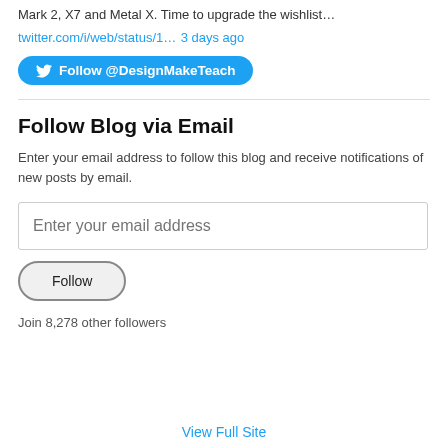Mark 2, X7 and Metal X. Time to upgrade the wishlist…
twitter.com/i/web/status/1… 3 days ago
[Figure (other): Follow @DesignMakeTeach Twitter button (blue rounded button with bird icon)]
Follow Blog via Email
Enter your email address to follow this blog and receive notifications of new posts by email.
Enter your email address (input field placeholder)
Follow (button)
Join 8,278 other followers
View Full Site